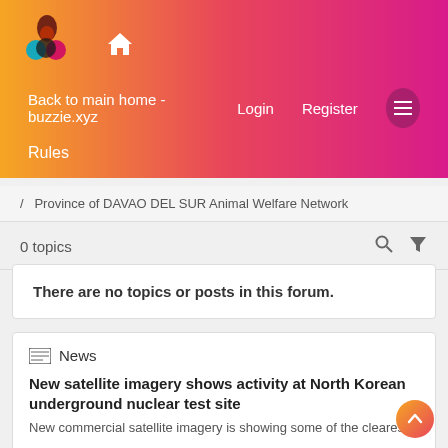[Figure (logo): Buzzie.xyz logo with colorful circles and a flame/teardrop shape, home icon next to it]
Back to main home - buzzie.xyz    Login    Register
Rules
/ Province of DAVAO DEL SUR Animal Welfare Network
0 topics
There are no topics or posts in this forum.
News
New satellite imagery shows activity at North Korean underground nuclear test site
New commercial satellite imagery is showing some of the clearest